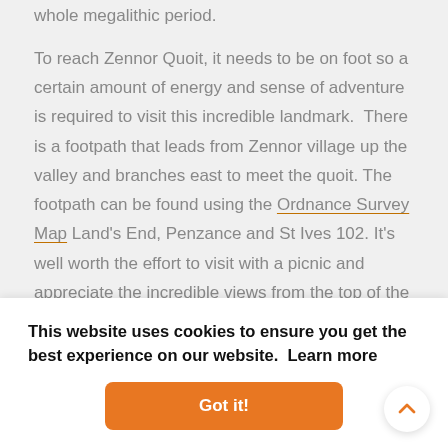whole megalithic period.
To reach Zennor Quoit, it needs to be on foot so a certain amount of energy and sense of adventure is required to visit this incredible landmark.  There is a footpath that leads from Zennor village up the valley and branches east to meet the quoit. The footpath can be found using the Ordnance Survey Map Land's End, Penzance and St Ives 102. It's well worth the effort to visit with a picnic and appreciate the incredible views from the top of the hill above Zennor.
...oit ...may ...ards ...on a
This website uses cookies to ensure you get the best experience on our website.  Learn more
Got it!